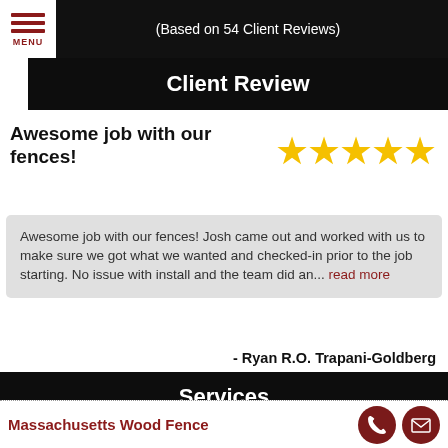(Based on 54 Client Reviews)
Client Review
Awesome job with our fences!
[Figure (other): Five gold star rating icons]
Awesome job with our fences! Josh came out and worked with us to make sure we got what we wanted and checked-in prior to the job starting. No issue with install and the team did an... read more
- Ryan R.O. Trapani-Goldberg
Services
Massachusetts Wood Fence
[Figure (other): Phone icon button (dark red circle) and email/envelope icon button (dark red circle)]